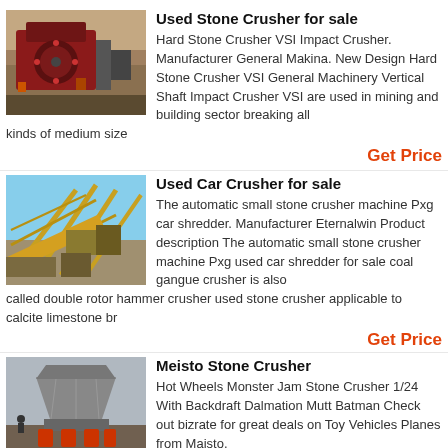[Figure (photo): Industrial stone crusher machine, red and grey, outdoor mining site]
Used Stone Crusher for sale
Hard Stone Crusher VSI Impact Crusher. Manufacturer General Makina. New Design Hard Stone Crusher VSI General Machinery Vertical Shaft Impact Crusher VSI are used in mining and building sector breaking all kinds of medium size
Get Price
[Figure (photo): Large yellow industrial crushing and screening plant with conveyor belts, outdoor]
Used Car Crusher for sale
The automatic small stone crusher machine Pxg car shredder. Manufacturer Eternalwin Product description The automatic small stone crusher machine Pxg used car shredder for sale coal gangue crusher is also called double rotor hammer crusher used stone crusher applicable to calcite limestone br
Get Price
[Figure (photo): Grey and red cone crusher machine, industrial equipment]
Meisto Stone Crusher
Hot Wheels Monster Jam Stone Crusher 1/24 With Backdraft Dalmation Mutt Batman Check out bizrate for great deals on Toy Vehicles Planes from Maisto.